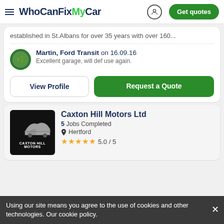WhoCanFixMyCar — Get quotes
established in St.Albans for over 35 years with over 160...
Martin, Ford Transit on 16.09.16
Excellent garage, will def use again.
View Profile | Request a Quote
Caxton Hill Motors Ltd
5 Jobs Completed
Hertford
5.0 / 5
Using our site means you agree to the use of cookies and other technologies. Our cookie policy.